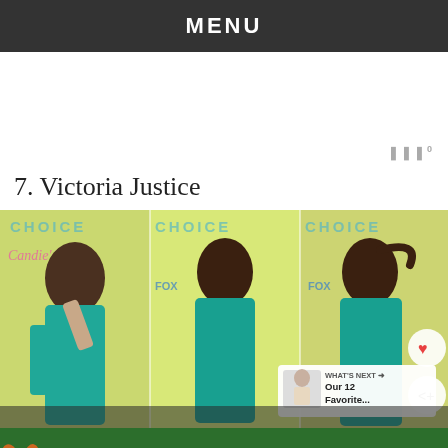MENU
7. Victoria Justice
[Figure (photo): Three photos of Victoria Justice wearing a teal/turquoise fringe dress at what appears to be a Teen Choice Awards red carpet event. She is posing in different positions across three panels. A 'What's Next' overlay panel shows 'Our 12 Favorite...' with a small thumbnail. Heart and share social buttons are visible on the right side.]
[Figure (infographic): Bottom advertisement bar with green background showing a cartoon dog and the text 'HEAD OVER HEELS' underlined in white bold text. There is a close button (X) and a Wattpad logo on the right.]